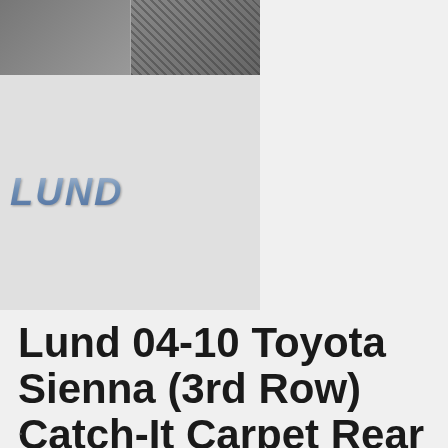[Figure (photo): Product thumbnail images showing Lund floor liner mats and Lund brand logo on grey background]
Lund 04-10 Toyota Sienna (3rd Row) Catch-It Carpet Rear Floor Liner – Black (1 Pc.)
$154.70 $119.42